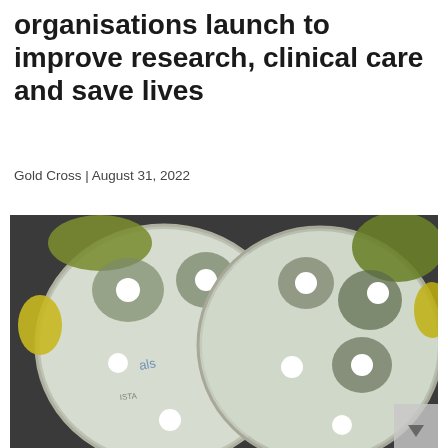organisations launch to improve research, clinical care and save lives
Gold Cross | August 31, 2022
[Figure (photo): Two petri dishes (agar plates) showing antibiotic susceptibility testing with multiple circular wells punched into the agar, displaying zones of inhibition around the wells. The plates are photographed from above against a dark textured background.]